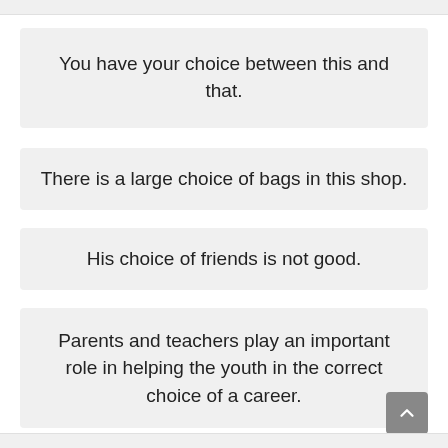You have your choice between this and that.
There is a large choice of bags in this shop.
His choice of friends is not good.
Parents and teachers play an important role in helping the youth in the correct choice of a career.